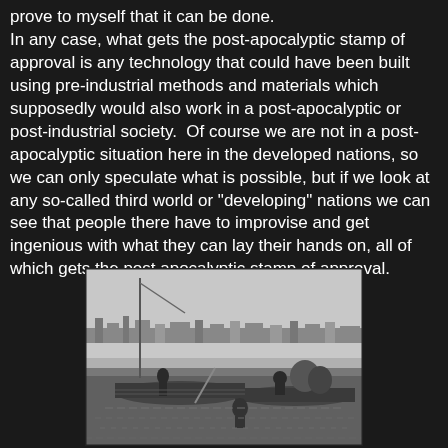prove to myself that it can be done. In any case, what gets the post-apocalyptic stamp of approval is any technology that could have been built using pre-industrial methods and materials which supposedly would also work in a post-apocalyptic or post-industrial society.  Of course we are not in a post-apocalyptic situation here in the developed nations, so we can only speculate what is possible, but if we look at any so-called third world or "developing" nations we can see that people there have to improvise and get ingenious with what they can lay their hands on, all of which gets the post apocalyptic stamp of approval.
[Figure (photo): Black and white photograph showing people with small wooden boats on water, with a cityscape or port visible in the background.]